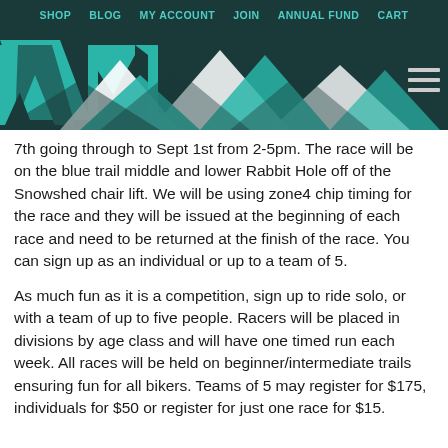SHOP  BLOG  MY ACCOUNT  JOIN  ANNUAL FUND  CART
[Figure (logo): VMBA logo on dark teal background with stylized mountain/letter shapes in teal and white]
7th going through to Sept 1st from 2-5pm. The race will be on the blue trail middle and lower Rabbit Hole off of the Snowshed chair lift. We will be using zone4 chip timing for the race and they will be issued at the beginning of each race and need to be returned at the finish of the race. You can sign up as an individual or up to a team of 5.
As much fun as it is a competition, sign up to ride solo, or with a team of up to five people. Racers will be placed in divisions by age class and will have one timed run each week. All races will be held on beginner/intermediate trails ensuring fun for all bikers. Teams of 5 may register for $175, individuals for $50 or register for just one race for $15.